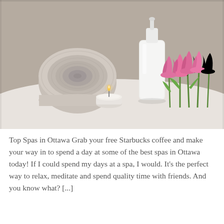[Figure (photo): A spa-themed photo showing a rolled grey towel, a white lotion bottle, a small lit tealight candle, and a bunch of pink tulips arranged on a white surface against a taupe/grey background.]
Top Spas in Ottawa Grab your free Starbucks coffee and make your way in to spend a day at some of the best spas in Ottawa today! If I could spend my days at a spa, I would. It's the perfect way to relax, meditate and spend quality time with friends. And you know what? [...]